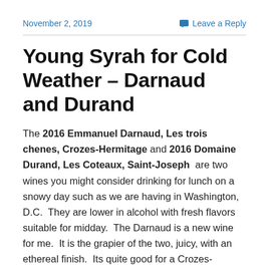November 2, 2019
Leave a Reply
Young Syrah for Cold Weather – Darnaud and Durand
The 2016 Emmanuel Darnaud, Les trois chenes, Crozes-Hermitage and 2016 Domaine Durand, Les Coteaux, Saint-Joseph are two wines you might consider drinking for lunch on a snowy day such as we are having in Washington, D.C.  They are lower in alcohol with fresh flavors suitable for midday.  The Darnaud is a new wine for me.  It is the grapier of the two, juicy, with an ethereal finish.  Its quite good for a Crozes-Hermitage.  The Durand is darker in fruit flavor, sports more structure,